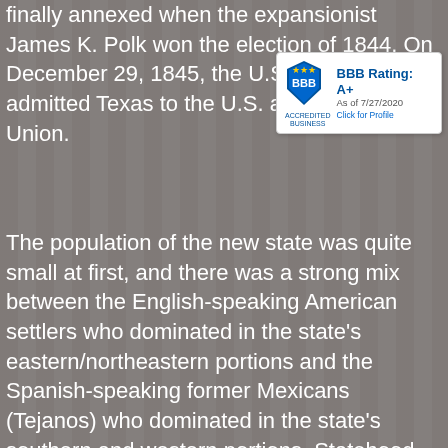finally annexed when the expansionist James K. Polk won the election of 1844. On December 29, 1845, the U.S. Congress admitted Texas to the U.S. as a constituent Union.
[Figure (logo): BBB Accredited Business badge with BBB Rating: A+, As of 7/27/2020, Click for Profile]
The population of the new state was quite small at first, and there was a strong mix between the English-speaking American settlers who dominated in the state's eastern/northeastern portions and the Spanish-speaking former Mexicans (Tejanos) who dominated in the state's southern and western portions. Statehood brought many new settlers. Because of the long Spanish presence in Mexico and various failed colonization efforts by the Spanish and Mexicans in northern Mexico, there were large herds of Longhorn cattle that roamed the state. Hardy by nature, but also suitable for slaughtering and consumption, they represented an economic opportunity many entrepreneurs